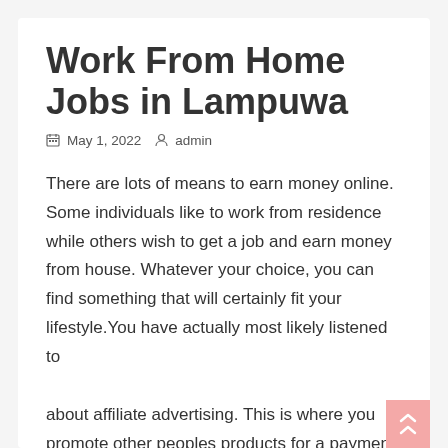Work From Home Jobs in Lampuwa
May 1, 2022   admin
There are lots of means to earn money online. Some individuals like to work from residence while others wish to get a job and earn money from house. Whatever your choice, you can find something that will certainly fit your lifestyle.You have actually most likely listened to

about affiliate advertising. This is where you promote other peoples products for a payment.